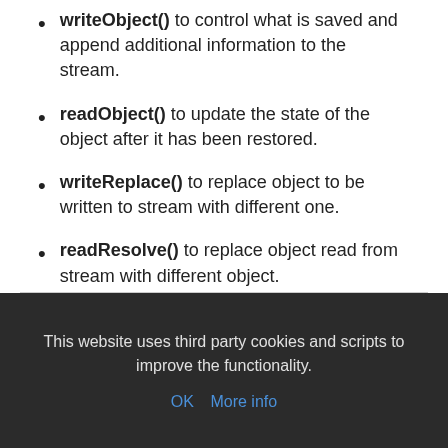writeObject() to control what is saved and append additional information to the stream.
readObject() to update the state of the object after it has been restored.
writeReplace() to replace object to be written to stream with different one.
readResolve() to replace object read from stream with different object.
This website uses third party cookies and scripts to improve the functionality.
OK  More info